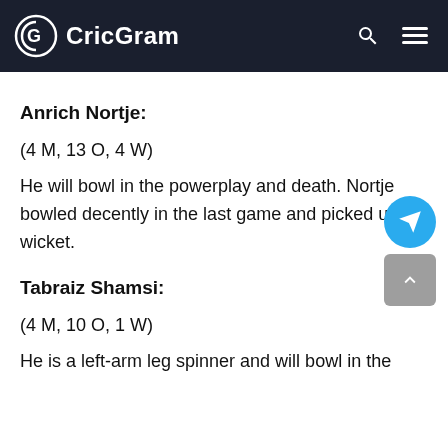CricGram
Anrich Nortje:
(4 M, 13 O, 4 W)
He will bowl in the powerplay and death. Nortje bowled decently in the last game and picked up 1 wicket.
Tabraiz Shamsi:
(4 M, 10 O, 1 W)
He is a left-arm leg spinner and will bowl in the